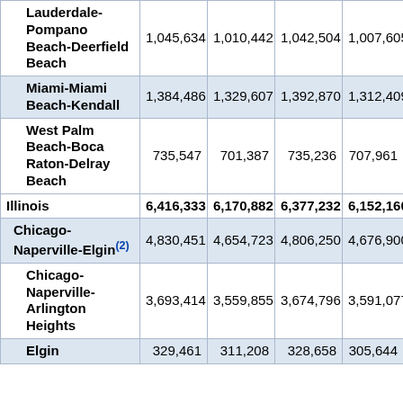| Area | Col1 | Col2 | Col3 | Col4 |
| --- | --- | --- | --- | --- |
| Lauderdale-Pompano Beach-Deerfield Beach | 1,045,634 | 1,010,442 | 1,042,504 | 1,007,605 |
| Miami-Miami Beach-Kendall | 1,384,486 | 1,329,607 | 1,392,870 | 1,312,409 |
| West Palm Beach-Boca Raton-Delray Beach | 735,547 | 701,387 | 735,236 | 707,961 |
| Illinois | 6,416,333 | 6,170,882 | 6,377,232 | 6,152,160 |
| Chicago-Naperville-Elgin(2) | 4,830,451 | 4,654,723 | 4,806,250 | 4,676,900 |
| Chicago-Naperville-Arlington Heights | 3,693,414 | 3,559,855 | 3,674,796 | 3,591,077 |
| Elgin | 329,461 | 311,208 | 328,658 | 305,644 |